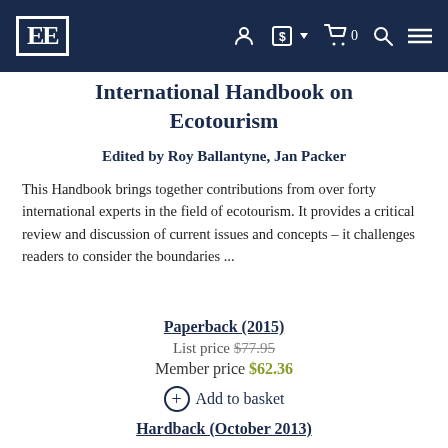[Figure (logo): Edward Elgar Publishing logo — 'EE' in bold serif inside a rectangular border, white on dark navy background, with navigation icons (user, currency, cart, search, menu)]
International Handbook on Ecotourism
Edited by Roy Ballantyne, Jan Packer
This Handbook brings together contributions from over forty international experts in the field of ecotourism. It provides a critical review and discussion of current issues and concepts – it challenges readers to consider the boundaries ...
Paperback (2015)
List price $77.95
Member price $62.36
⊕ Add to basket
Hardback (October 2013)